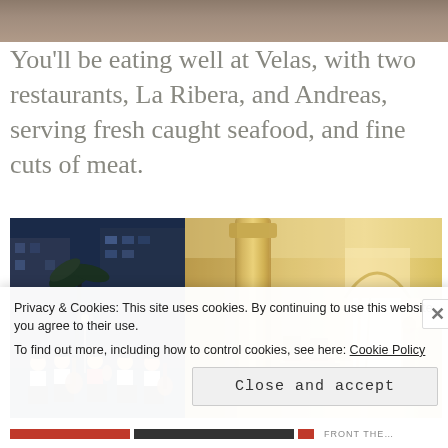[Figure (photo): Top portion of a hotel room or wooden surface photo, cropped at top of page]
You'll be eating well at Velas, with two restaurants, La Ribera, and Andreas, serving fresh caught seafood, and fine cuts of meat.
[Figure (photo): Composite image: left half shows mariachi band performing at night outside hotel with palm trees and blue lighting; right half shows elegant restaurant interior with marble columns, arch doorways, and warm golden lighting]
Privacy & Cookies: This site uses cookies. By continuing to use this website, you agree to their use.
To find out more, including how to control cookies, see here: Cookie Policy
Close and accept